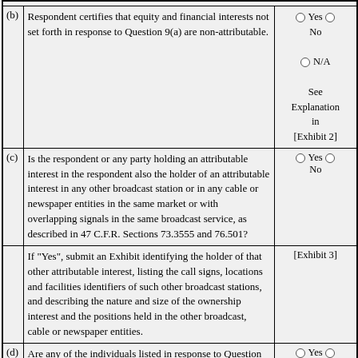| Label | Question/Text | Response |
| --- | --- | --- |
| (b) | Respondent certifies that equity and financial interests not set forth in response to Question 9(a) are non-attributable. | C Yes C No
C N/A
See Explanation in [Exhibit 2] |
| (c) | Is the respondent or any party holding an attributable interest in the respondent also the holder of an attributable interest in any other broadcast station or in any cable or newspaper entities in the same market or with overlapping signals in the same broadcast service, as described in 47 C.F.R. Sections 73.3555 and 76.501? | C Yes C No |
|  | If "Yes", submit an Exhibit identifying the holder of that other attributable interest, listing the call signs, locations and facilities identifiers of such other broadcast stations, and describing the nature and size of the ownership interest and the positions held in the other broadcast, cable or newspaper entities. | [Exhibit 3] |
| (d) | Are any of the individuals listed in response to Question 9(a) related as parent-child, husband-wife, brothers and sisters? | C Yes C No |
|  | If "Yes", submit an Exhibit setting forth full information as to the family relationship | [Exhibit 4] |
| (e) | Is respondent seeking an attribution exemption for any | C Yes C |